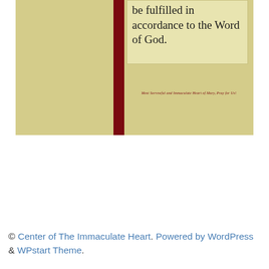[Figure (illustration): Book cover image showing a tan/khaki colored book with a dark red spine. The right panel contains a text box with the words 'be fulfilled in accordance to the Word of God.' and italic text at the bottom reading 'Most Sorrowful and Immaculate Heart of Mary, Pray for Us!']
© Center of The Immaculate Heart. Powered by WordPress & WPstart Theme.